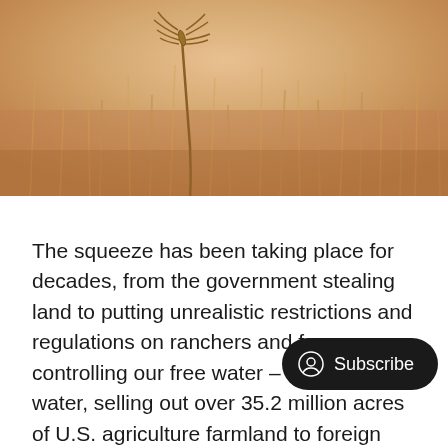[Figure (photo): Close-up photograph of wheat stalks in a field with a warm golden/amber tone, one stalk prominently in focus in the upper portion against a blurred background of wheat field.]
The squeeze has been taking place for decades, from the government stealing land to putting unrealistic restrictions and regulations on ranchers and farmers, controlling our free water – even rain water, selling out over 35.2 million acres of U.S. agriculture farmland to foreign investors, globalists like Bill Gates buying up hundreds of thousands of acres of farmland, burning down food processing plants while manufacturing supp[lies and] d preventing transportation of criti[cal] supplies such as fertilizer – all while building indoor